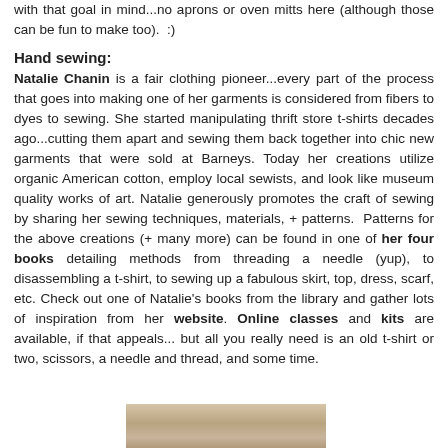with that goal in mind...no aprons or oven mitts here (although those can be fun to make too). :)
Hand sewing:
Natalie Chanin is a fair clothing pioneer...every part of the process that goes into making one of her garments is considered from fibers to dyes to sewing. She started manipulating thrift store t-shirts decades ago...cutting them apart and sewing them back together into chic new garments that were sold at Barneys. Today her creations utilize organic American cotton, employ local sewists, and look like museum quality works of art. Natalie generously promotes the craft of sewing by sharing her sewing techniques, materials, + patterns. Patterns for the above creations (+ many more) can be found in one of her four books detailing methods from threading a needle (yup), to disassembling a t-shirt, to sewing up a fabulous skirt, top, dress, scarf, etc. Check out one of Natalie's books from the library and gather lots of inspiration from her website. Online classes and kits are available, if that appeals... but all you really need is an old t-shirt or two, scissors, a needle and thread, and some time.
[Figure (photo): Partial image at bottom of page showing what appears to be fabric or textile work]